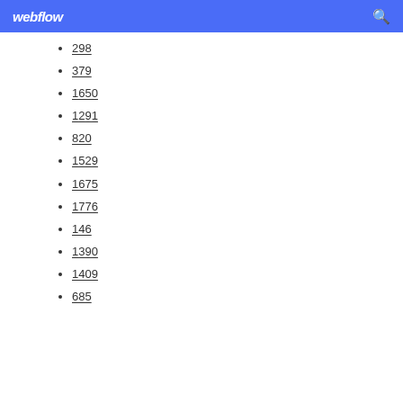webflow
298
379
1650
1291
820
1529
1675
1776
146
1390
1409
685